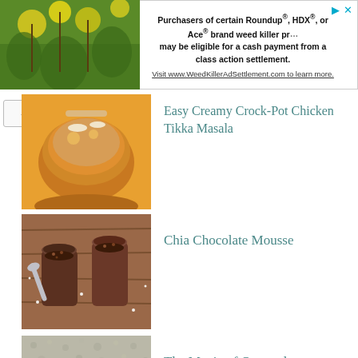[Figure (screenshot): Advertisement banner for weed killer class action settlement with plant background image and text]
Easy Creamy Crock-Pot Chicken Tikka Masala
[Figure (photo): Photo of Crock-Pot Chicken Tikka Masala dish]
Chia Chocolate Mousse
[Figure (photo): Photo of Chia Chocolate Mousse in dark cups]
The Magic of Oatmeal
[Figure (photo): Photo of oatmeal grains close-up]
(Easy) Spinach Ricotta Quiche
[Figure (photo): Photo of Spinach Ricotta Quiche]